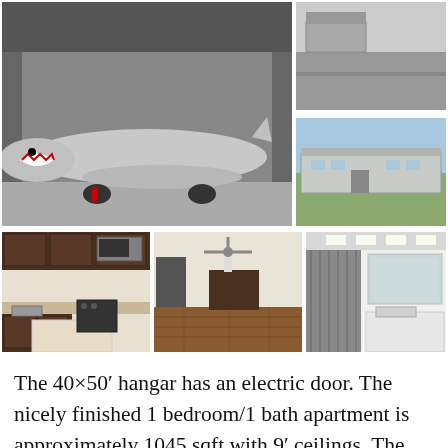[Figure (photo): Airplane with shark mouth nose art parked inside a large metal hangar]
[Figure (photo): Aerial or ground view of paved area near hangar exterior]
[Figure (photo): Exterior view of a long rectangular metal building / apartment structure]
[Figure (photo): Interior kitchen with dark wood cabinets, granite island, and stainless appliances]
[Figure (photo): Open living/kitchen area with wood floors and ceiling fan]
[Figure (photo): Bathroom interior with grey curtain and vanity mirror]
The 40×50’ hangar has an electric door. The nicely finished 1 bedroom/1 bath apartment is approximately 1045 sqft with 9’ ceilings. The bedroom offers two large walk-in closets, full bath with walk-in